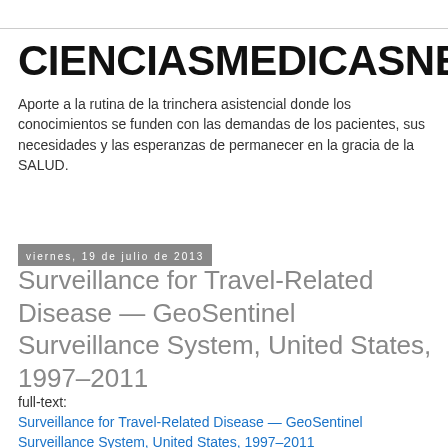CIENCIASMEDICASNEWS
Aporte a la rutina de la trinchera asistencial donde los conocimientos se funden con las demandas de los pacientes, sus necesidades y las esperanzas de permanecer en la gracia de la SALUD.
viernes, 19 de julio de 2013
Surveillance for Travel-Related Disease — GeoSentinel Surveillance System, United States, 1997–2011
full-text:
Surveillance for Travel-Related Disease — GeoSentinel Surveillance System, United States, 1997–2011